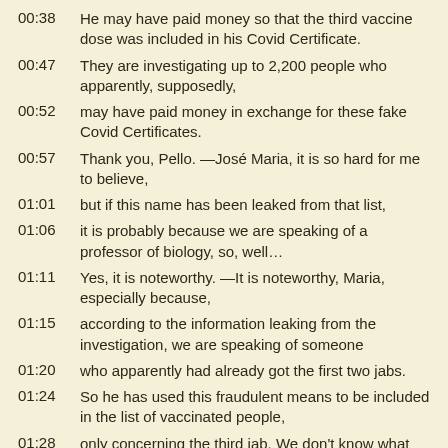00:38 He may have paid money so that the third vaccine dose was included in his Covid Certificate.
00:47 They are investigating up to 2,200 people who apparently, supposedly,
00:52 may have paid money in exchange for these fake Covid Certificates.
00:57 Thank you, Pello. —José Maria, it is so hard for me to believe,
01:01 but if this name has been leaked from that list,
01:06 it is probably because we are speaking of a professor of biology, so, well…
01:11 Yes, it is noteworthy. —It is noteworthy, Maria, especially because,
01:15 according to the information leaking from the investigation, we are speaking of someone
01:20 who apparently had already got the first two jabs.
01:24 So he has used this fraudulent means to be included in the list of vaccinated people,
01:28 only concerning the third jab. We don't know what actually happened.
01:32 But it turns out he is on that list, together with the other names we have been discovering.
01:36 I guess there is an explanation for it. I think that